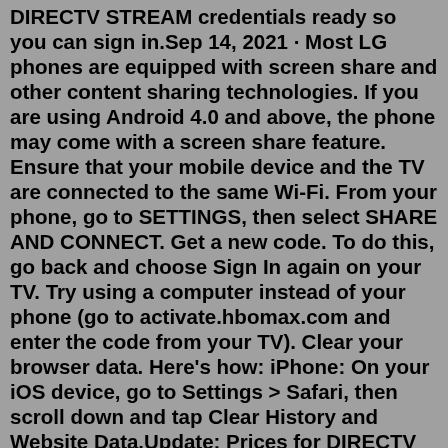DIRECTV STREAM credentials ready so you can sign in.Sep 14, 2021 · Most LG phones are equipped with screen share and other content sharing technologies. If you are using Android 4.0 and above, the phone may come with a screen share feature. Ensure that your mobile device and the TV are connected to the same Wi-Fi. From your phone, go to SETTINGS, then select SHARE AND CONNECT. Get a new code. To do this, go back and choose Sign In again on your TV. Try using a computer instead of your phone (go to activate.hbomax.com and enter the code from your TV). Clear your browser data. Here's how: iPhone: On your iOS device, go to Settings > Safari, then scroll down and tap Clear History and Website Data.Update: Prices for DIRECTV Stream will increase in January 2022. Except for the entry-level "Entertainment" plan which will remain at $69.99. DIRECTV Stream offers four different tiers ...May 19, 2022 · Update: Prices for DIRECTV Stream will increase in January 2022. Except for the entry-level “Entertainment” plan which will remain